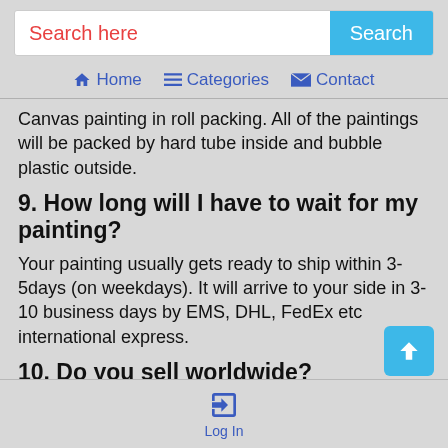Search here | Search | Home | Categories | Contact
Canvas painting in roll packing. All of the paintings will be packed by hard tube inside and bubble plastic outside.
9. How long will I have to wait for my painting?
Your painting usually gets ready to ship within 3-5days (on weekdays). It will arrive to your side in 3-10 business days by EMS, DHL, FedEx etc international express.
10. Do you sell worldwide?
Yes, we accept international orders. However, additional shipping charges may be required.
Log In